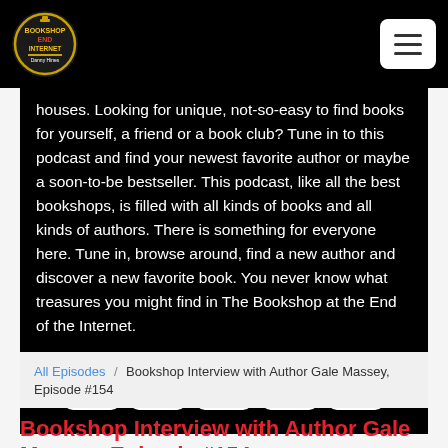Bookshop at the End of the Internet — navigation header
houses. Looking for unique, not-so-easy to find books for yourself, a friend or a book club? Tune in to this podcast and find your newest favorite author or maybe a soon-to-be bestseller. This podcast, like all the best bookshops, is filled with all kinds of books and all kinds of authors. There is something for everyone here. Tune in, browse around, find a new author and discover a new favorite book. You never know what treasures you might find in The Bookshop at the End of the Internet.
[Figure (other): Row of 5 social media icon buttons: Facebook, Twitter, Email, RSS, Spotify]
All Episodes / Bookshop Interview with Author Gale Massey, Episode #154
Bookshop Interview with Author Gale Massey, Episode #154